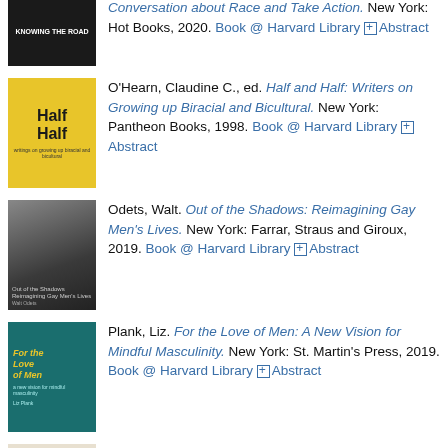O'Hearn, Claudine C., ed. Half and Half: Writers on Growing up Biracial and Bicultural. New York: Pantheon Books, 1998. Book @ Harvard Library [+] Abstract
Odets, Walt. Out of the Shadows: Reimagining Gay Men's Lives. New York: Farrar, Straus and Giroux, 2019. Book @ Harvard Library [+] Abstract
Plank, Liz. For the Love of Men: A New Vision for Mindful Masculinity. New York: St. Martin's Press, 2019. Book @ Harvard Library [+] Abstract
Shilts, Randy. And the Band Played On: Politics, People, and the AIDS Epidemic. New York: St...